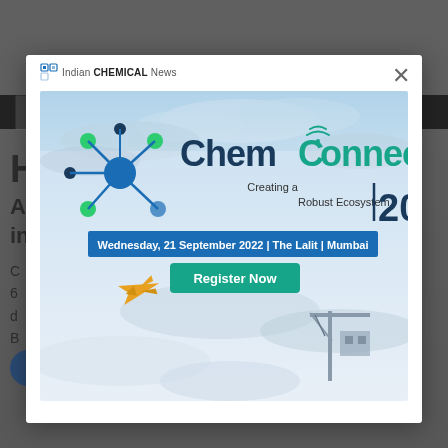[Figure (screenshot): Screenshot of a webpage showing a modal popup advertisement for ChemConnect 2022 event by Indian Chemical News. The modal shows the ChemConnect logo with molecular network graphic, text 'Creating a Robust Ecosystem | 2022', date bar 'Wednesday, 21 September 2022 | The Lalit | Mumbai', a 'Register Now' green button, and a background image of airplane and crane against cloudy sky. The webpage behind shows partial article text.]